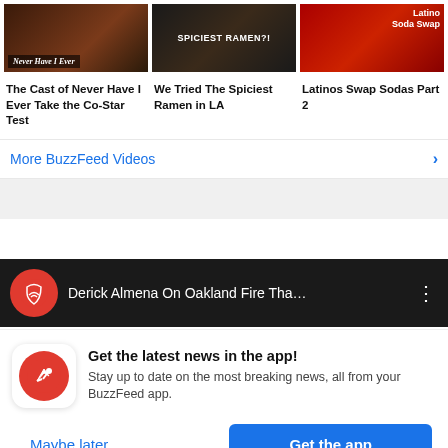[Figure (screenshot): Three video thumbnails in a row: 'Never Have I Ever', 'Spiciest Ramen', 'Latino Soda Swap']
The Cast of Never Have I Ever Take the Co-Star Test
We Tried The Spiciest Ramen in LA
Latinos Swap Sodas Part 2
More BuzzFeed Videos
[Figure (screenshot): Video player bar showing 'Derick Almena On Oakland Fire Tha...' with BuzzFeed News icon]
Get the latest news in the app! Stay up to date on the most breaking news, all from your BuzzFeed app.
Maybe later
Get the app